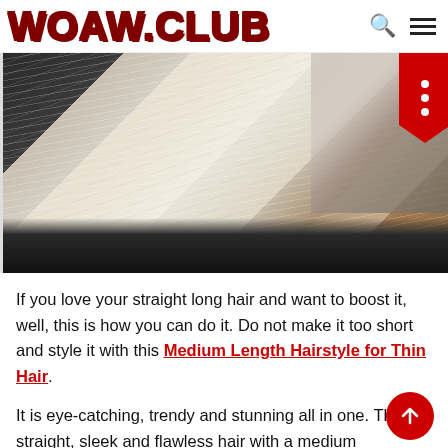WOAW.CLUB
[Figure (photo): Back view of a person with straight medium-length blonde highlighted hair in a hair salon setting]
If you love your straight long hair and want to boost it, well, this is how you can do it. Do not make it too short and style it with this Medium Length Hairstyle for Thin Hair.
It is eye-catching, trendy and stunning all in one. The straight, sleek and flawless hair with a medium